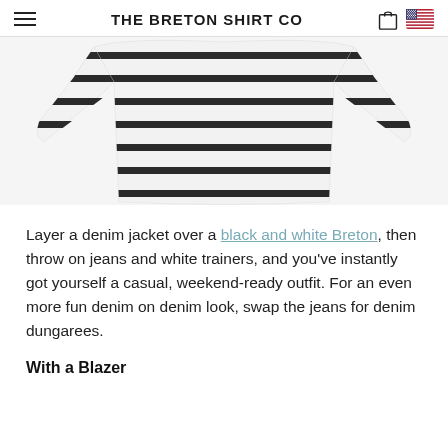THE BRETON SHIRT CO
[Figure (photo): Photo of a white and black horizontal striped off-shoulder Breton shirt, shown flat/folded, cropped at top of page]
Layer a denim jacket over a black and white Breton, then throw on jeans and white trainers, and you've instantly got yourself a casual, weekend-ready outfit. For an even more fun denim on denim look, swap the jeans for denim dungarees.
With a Blazer